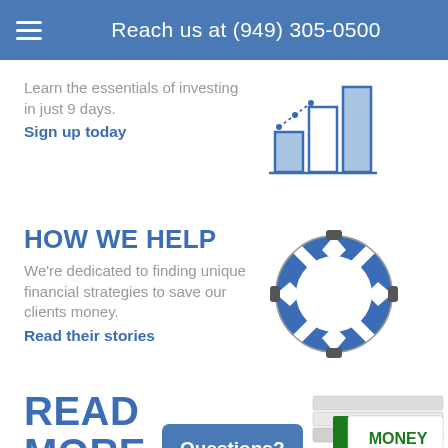Reach us at (949) 305-0500
Learn the essentials of investing in just 9 days. Sign up today
[Figure (illustration): Bar chart icon with upward trend in blue outline style]
HOW WE HELP
We're dedicated to finding unique financial strategies to save our clients money. Read their stories
[Figure (illustration): Life preserver / lifebuoy ring icon in blue and white]
READ MORE
[Figure (illustration): Stack of Money Smart books]
Questions?